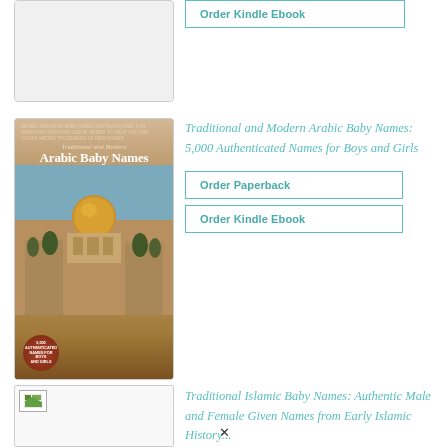[Figure (photo): Partially visible book cover at top of page, white/light background]
Order Kindle Ebook
[Figure (photo): Book cover of 'Traditional and Modern Arabic Baby Names' featuring an image of the Dome of the Rock in Jerusalem, with a brown circular badge reading '5,000 Authenticated Names for Boys and Girls']
Traditional and Modern Arabic Baby Names: 5,000 Authenticated Names for Boys and Girls
Order Paperback
Order Kindle Ebook
[Figure (photo): Partially visible book cover at bottom, with broken image icon visible]
Traditional Islamic Baby Names: Authentic Male and Female Given Names from Early Islamic History...